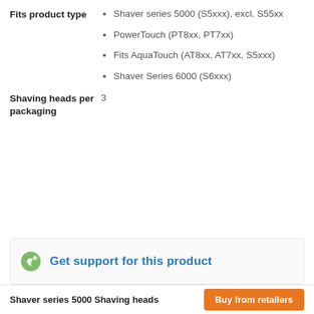Fits product type
Shaver series 5000 (S5xxx), excl. S55xx
PowerTouch (PT8xx, PT7xx)
Fits AquaTouch (AT8xx, AT7xx, S5xxx)
Shaver Series 6000 (S6xxx)
Shaving heads per packaging
3
[Figure (illustration): Support section with green Philips logo icon and blue bold text: Get support for this product]
Shaver series 5000 Shaving heads   Buy from retailers